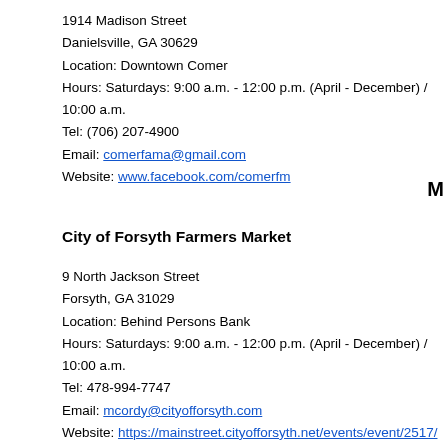1914 Madison Street
Danielsville, GA 30629
Location: Downtown Comer
Hours: Saturdays: 9:00 a.m. - 12:00 p.m. (April - December) / 10:00 a.m.
Tel: (706) 207-4900
Email: comerfama@gmail.com
Website: www.facebook.com/comerfm
M
City of Forsyth Farmers Market
9 North Jackson Street
Forsyth, GA 31029
Location: Behind Persons Bank
Hours: Saturdays: 9:00 a.m. - 12:00 p.m. (April - December) / 10:00 a.m.
Tel: 478-994-7747
Email: mcordy@cityofforsyth.com
Website: https://mainstreet.cityofforsyth.net/events/event/2517/
Facebook: https://www.facebook.com/City-of-Forsyth-Farmers-Market-19